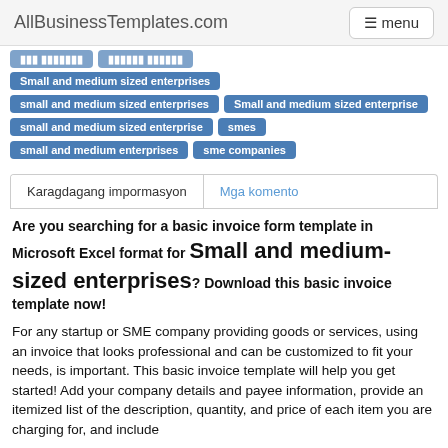AllBusinessTemplates.com   menu
Small and medium sized enterprises
small and medium sized enterprises   Small and medium sized enterprise
small and medium sized enterprise   smes
small and medium enterprises   sme companies
Karagdagang impormasyon   Mga komento
Are you searching for a basic invoice form template in Microsoft Excel format for Small and medium-sized enterprises? Download this basic invoice template now!
For any startup or SME company providing goods or services, using an invoice that looks professional and can be customized to fit your needs, is important. This basic invoice template will help you get started! Add your company details and payee information, provide an itemized list of the description, quantity, and price of each item you are charging for, and include